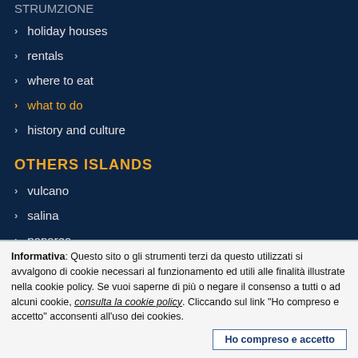holiday houses
rentals
where to eat
what to do
history and culture
OTHERS ISLANDS
vulcano
salina
panarea
Informativa: Questo sito o gli strumenti terzi da questo utilizzati si avvalgono di cookie necessari al funzionamento ed utili alle finalità illustrate nella cookie policy. Se vuoi saperne di più o negare il consenso a tutti o ad alcuni cookie, consulta la cookie policy. Cliccando sul link "Ho compreso e accetto" acconsenti all'uso dei cookies.
Ho compreso e accetto